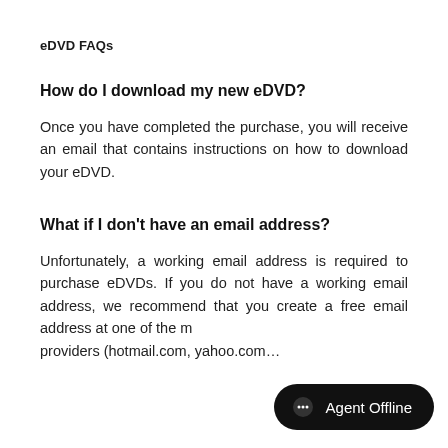eDVD FAQs
How do I download my new eDVD?
Once you have completed the purchase, you will receive an email that contains instructions on how to download your eDVD.
What if I don't have an email address?
Unfortunately, a working email address is required to purchase eDVDs. If you do not have a working email address, we recommend that you create a free email address at one of the major providers (hotmail.com, yahoo.com…